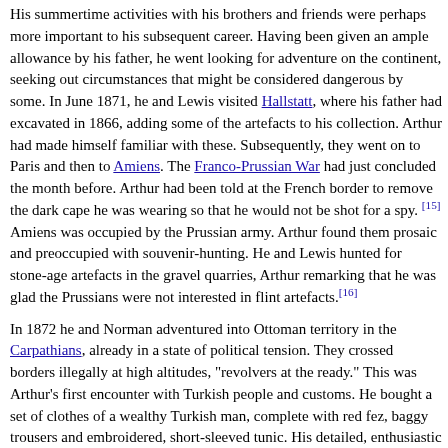His summertime activities with his brothers and friends were perhaps more important to his subsequent career. Having been given an ample allowance by his father, he went looking for adventure on the continent, seeking out circumstances that might be considered dangerous by some. In June 1871, he and Lewis visited Hallstatt, where his father had excavated in 1866, adding some of the artefacts to his collection. Arthur had made himself familiar with these. Subsequently, they went on to Paris and then to Amiens. The Franco-Prussian War had just concluded the month before. Arthur had been told at the French border to remove the dark cape he was wearing so that he would not be shot for a spy. [15] Amiens was occupied by the Prussian army. Arthur found them prosaic and preoccupied with souvenir-hunting. He and Lewis hunted for stone-age artefacts in the gravel quarries, Arthur remarking that he was glad the Prussians were not interested in flint artefacts.[16]
In 1872 he and Norman adventured into Ottoman territory in the Carpathians, already in a state of political tension. They crossed borders illegally at high altitudes, "revolvers at the ready." This was Arthur's first encounter with Turkish people and customs. He bought a set of clothes of a wealthy Turkish man, complete with red fez, baggy trousers and embroidered, short-sleeved tunic. His detailed, enthusiastic account was published in Fraser's Magazine